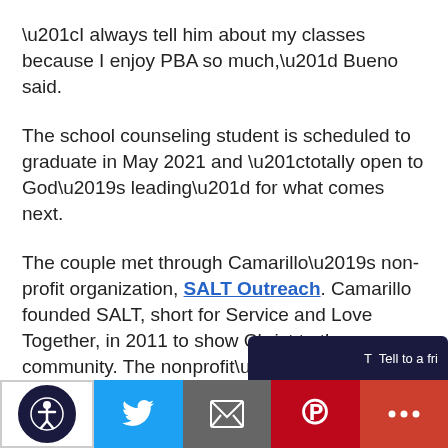“I always tell him about my classes because I enjoy PBA so much,” Bueno said.
The school counseling student is scheduled to graduate in May 2021 and “totally open to God’s leading” for what comes next.
The couple met through Camarillo’s non-profit organization, SALT Outreach. Camarillo founded SALT, short for Service and Love Together, in 2011 to show Christ to the community. The nonprofit’s mobile outreach center
Accessibility | Twitter | Email | Pinterest | More